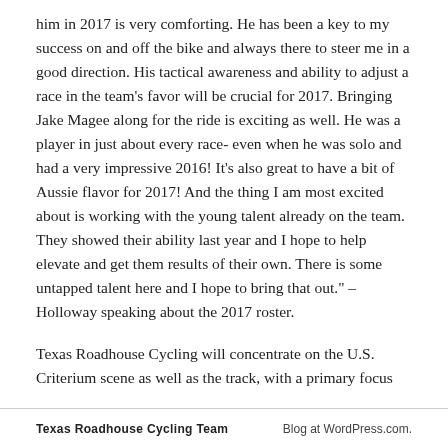him in 2017 is very comforting. He has been a key to my success on and off the bike and always there to steer me in a good direction. His tactical awareness and ability to adjust a race in the team's favor will be crucial for 2017. Bringing Jake Magee along for the ride is exciting as well. He was a player in just about every race- even when he was solo and had a very impressive 2016! It's also great to have a bit of Aussie flavor for 2017! And the thing I am most excited about is working with the young talent already on the team. They showed their ability last year and I hope to help elevate and get them results of their own. There is some untapped talent here and I hope to bring that out." – Holloway speaking about the 2017 roster.
Texas Roadhouse Cycling will concentrate on the U.S. Criterium scene as well as the track, with a primary focus
Texas Roadhouse Cycling Team | Blog at WordPress.com.